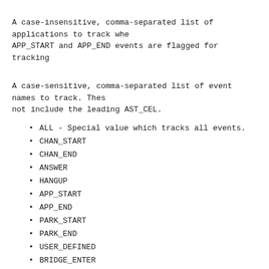A case-insensitive, comma-separated list of applications to track when APP_START and APP_END events are flagged for tracking
A case-sensitive, comma-separated list of event names to track. These not include the leading AST_CEL.
ALL - Special value which tracks all events.
CHAN_START
CHAN_END
ANSWER
HANGUP
APP_START
APP_END
PARK_START
PARK_END
USER_DEFINED
BRIDGE_ENTER
BRIDGE_EXIT